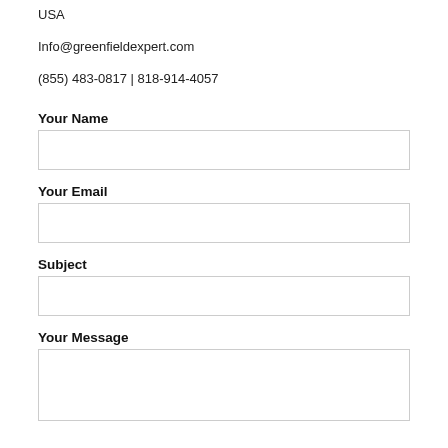USA
Info@greenfieldexpert.com
(855) 483-0817 | 818-914-4057
Your Name
Your Email
Subject
Your Message